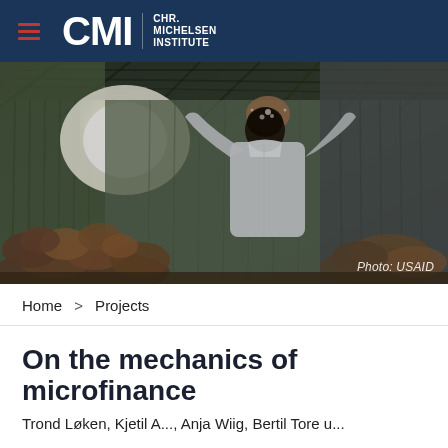CMI CHR. MICHELSEN INSTITUTE
[Figure (photo): A man in a white shirt standing in a warehouse or storage building with corrugated metal walls, holding up and examining what appears to be grain or seeds, with bright light streaming in from a window. Sacks of goods are piled on the ground. Photo credit: USAID.]
Photo: USAID
Home > Projects
On the mechanics of microfinance